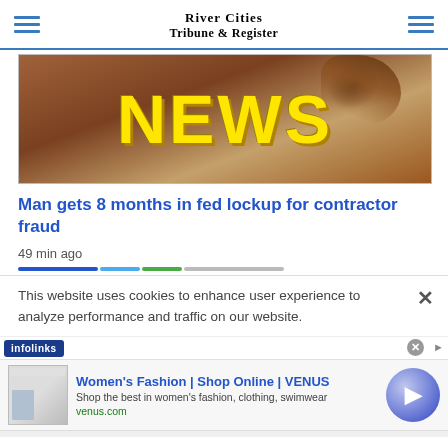River Cities Tribune & Register
[Figure (photo): News banner image with a wooden gavel on a desk and large yellow bold text reading NEWS on a brown background]
Man gets 8 months in fed lockup for contractor fraud
49 min ago
This website uses cookies to enhance user experience to analyze performance and traffic on our website.
[Figure (infographic): Advertisement banner: infolinks badge. Women's Fashion | Shop Online | VENUS. Shop the best in women's fashion, clothing, swimwear. venus.com. Close button and forward arrow circle button.]